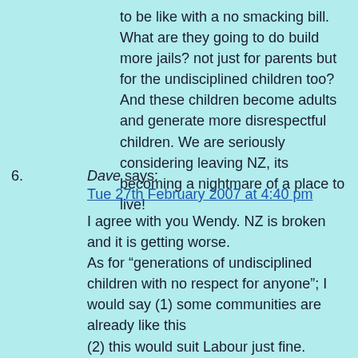to be like with a no smacking bill. What are they going to do build more jails? not just for parents but for the undisciplined children too? And these children become adults and generate more disrespectful children. We are seriously considering leaving NZ, its becoming a nightmare of a place to live!
6. Dave says: Tue 27th February 2007 at 4:40 pm

I agree with you Wendy. NZ is broken and it is getting worse.
As for “generations of undisciplined children with no respect for anyone”; I would say (1) some communities are already like this
(2) this would suit Labour just fine.

It is the perfect way to breed more Labour voters.